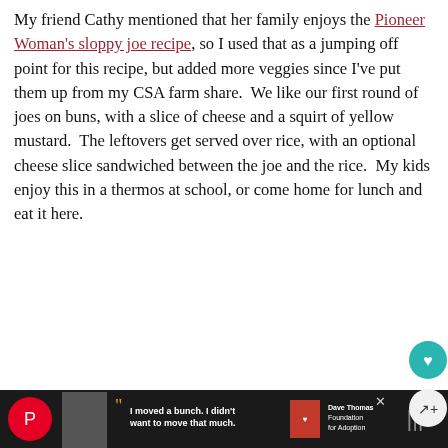My friend Cathy mentioned that her family enjoys the Pioneer Woman's sloppy joe recipe, so I used that as a jumping off point for this recipe, but added more veggies since I've put them up from my CSA farm share.  We like our first round of joes on buns, with a slice of cheese and a squirt of yellow mustard.  The leftovers get served over rice, with an optional cheese slice sandwiched between the joe and the rice.  My kids enjoy this in a thermos at school, or come home for lunch and eat it here.
[Figure (illustration): Advertisement with black background showing a white line drawing of a walking tiger/big cat. Text reads '1 x adult tiger' and 'How far is far enough? Know your distance.' Close button (X) in top right corner.]
[Figure (screenshot): Bottom banner advertisement: boy with quote 'I moved a bunch. I didn't want to move that much.' Dave Thomas Foundation for Adoption logo. Close X button.]